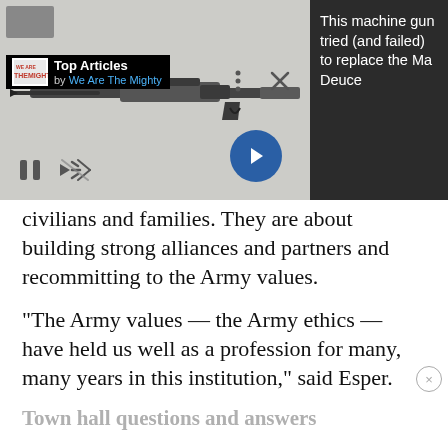[Figure (screenshot): Video player overlay showing a machine gun image on dark gray background with Top Articles bar from We Are The Mighty, playback controls (pause, mute icons), dots menu, X close button, and a blue arrow button. Dark panel on right shows article title text.]
This machine gun tried (and failed) to replace the Ma Deuce
civilians and families. They are about building strong alliances and partners and recommitting to the Army values.
“The Army values — the Army ethics — have held us well as a profession for many, many years in this institution,” said Esper.
Town hall questions and answers